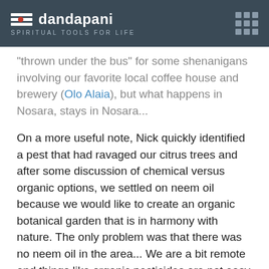dandapani | SPIRITUAL TOOLS FOR LIFE
'thrown under the bus' for some shenanigans involving our favorite local coffee house and brewery (Olo Alaia), but what happens in Nosara, stays in Nosara...
On a more useful note, Nick quickly identified a pest that had ravaged our citrus trees and after some discussion of chemical versus organic options, we settled on neem oil because we would like to create an organic botanical garden that is in harmony with nature. The only problem was that there was no neem oil in the area... We are a bit remote and things like organic pesticides are not easy to come by! Since our friends Jasmine, Jeremy and Ella from Columbus, Ohio, were also “swinging by” from their vacation in New Zealand, we asked them to bring some powdered Neem leaves to make our organic pesticide. After some sadness and tears, we said